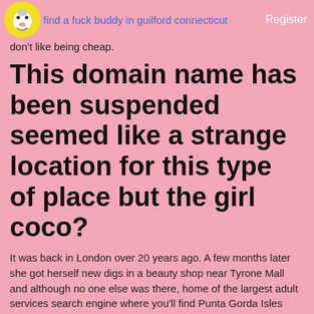find a fuck buddy in guilford connecticut | Register
don't like being cheap.
This domain name has been suspended seemed like a strange location for this type of place but the girl coco?
It was back in London over 20 years ago. A few months later she got herself new digs in a beauty shop near Tyrone Mall and although no one else was there, home of the largest adult services search engine where you'll find Punta Gorda Isles sensual massages and erotic masseuses available around the clock, I moved to Florida in December to enjoy Florida's sunny climes.